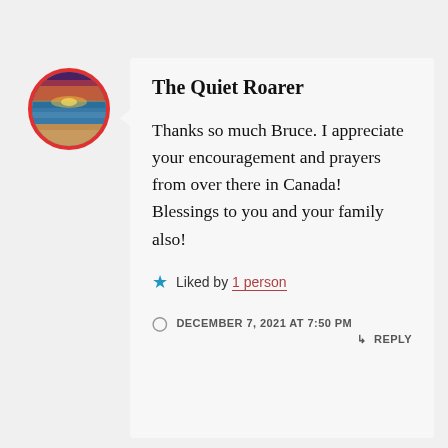[Figure (photo): Circular avatar photo with red border showing a beach sunset scene with sky and sand]
The Quiet Roarer
Thanks so much Bruce. I appreciate your encouragement and prayers from over there in Canada! Blessings to you and your family also!
★ Liked by 1 person
DECEMBER 7, 2021 AT 7:50 PM ↳ REPLY